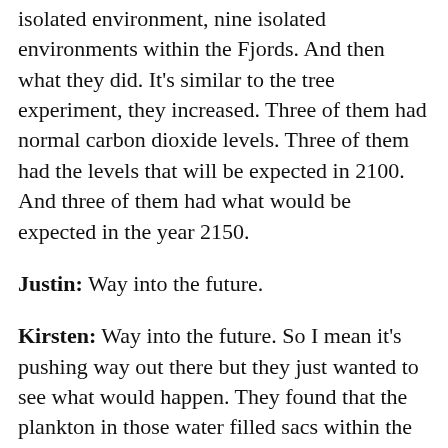isolated environment, nine isolated environments within the Fjords. And then what they did. It’s similar to the tree experiment, they increased. Three of them had normal carbon dioxide levels. Three of them had the levels that will be expected in 2100. And three of them had what would be expected in the year 2150.
Justin: Way into the future.
Kirsten: Way into the future. So I mean it’s pushing way out there but they just wanted to see what would happen. They found that the plankton in those water filled sacs within the Fjords really, really increased their uptake of carbon dioxide